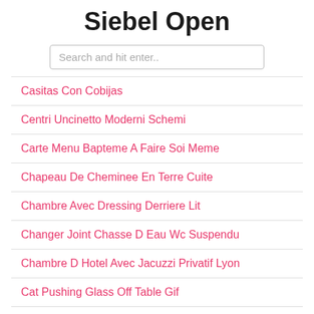Siebel Open
Search and hit enter..
Casitas Con Cobijas
Centri Uncinetto Moderni Schemi
Carte Menu Bapteme A Faire Soi Meme
Chapeau De Cheminee En Terre Cuite
Chambre Avec Dressing Derriere Lit
Changer Joint Chasse D Eau Wc Suspendu
Chambre D Hotel Avec Jacuzzi Privatif Lyon
Cat Pushing Glass Off Table Gif
Carrelage Escalier Nez De Marche
Carreau De Verre Brico Depot